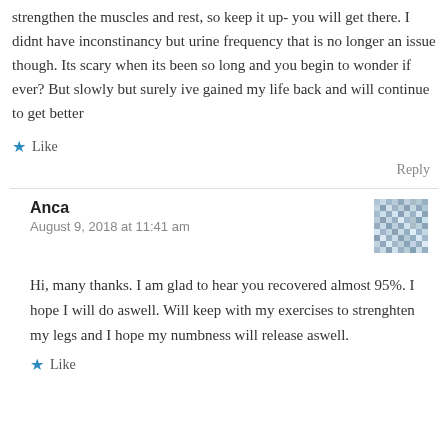strengthen the muscles and rest, so keep it up- you will get there. I didnt have inconstinancy but urine frequency that is no longer an issue though. Its scary when its been so long and you begin to wonder if ever? But slowly but surely ive gained my life back and will continue to get better
★ Like
Reply
Anca
August 9, 2018 at 11:41 am
Hi, many thanks. I am glad to hear you recovered almost 95%. I hope I will do aswell. Will keep with my exercises to strenghten my legs and I hope my numbness will release aswell.
[Figure (illustration): Pixelated avatar/gravatar image for user Anca]
★ Like